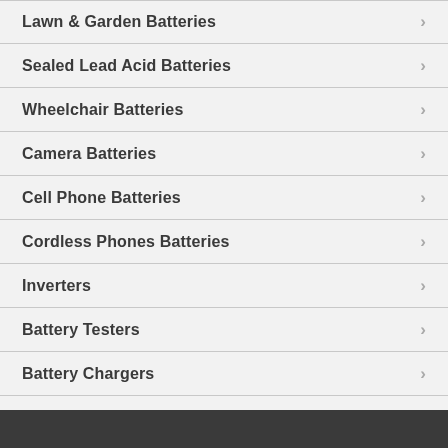Lawn & Garden Batteries
Sealed Lead Acid Batteries
Wheelchair Batteries
Camera Batteries
Cell Phone Batteries
Cordless Phones Batteries
Inverters
Battery Testers
Battery Chargers